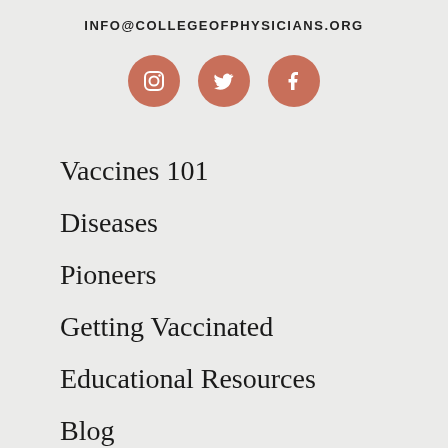INFO@COLLEGEOFPHYSICIANS.ORG
[Figure (infographic): Three social media icons (Instagram, Twitter, Facebook) as white icons on terracotta/salmon colored circles]
Vaccines 101
Diseases
Pioneers
Getting Vaccinated
Educational Resources
Blog